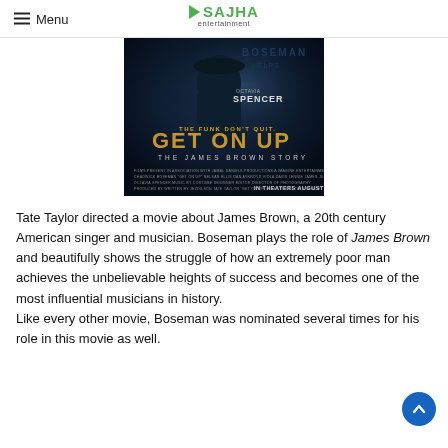Menu | SAJHA entertainment
[Figure (photo): Movie poster for 'Get On Up: The James Brown Story' featuring Octavia Spencer credit text, dark atmospheric background with a figure, gold and white title lettering reading 'THE FUNK DON'T QUIT. GET ON UP THE JAMES BROWN STORY', release date August 1]
Tate Taylor directed a movie about James Brown, a 20th century American singer and musician. Boseman plays the role of James Brown and beautifully shows the struggle of how an extremely poor man achieves the unbelievable heights of success and becomes one of the most influential musicians in history.
Like every other movie, Boseman was nominated several times for his role in this movie as well.